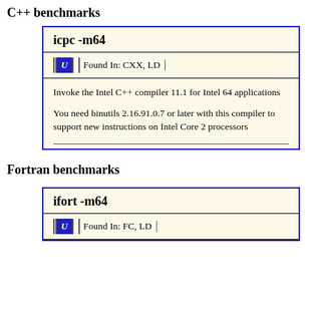C++ benchmarks
[Figure (other): Documentation card for icpc -m64 compiler flag. Shows 'Found In: CXX, LD' and description: Invoke the Intel C++ compiler 11.1 for Intel 64 applications. You need binutils 2.16.91.0.7 or later with this compiler to support new instructions on Intel Core 2 processors.]
Fortran benchmarks
[Figure (other): Documentation card for ifort -m64 compiler flag. Shows 'Found In: FC, LD'.]